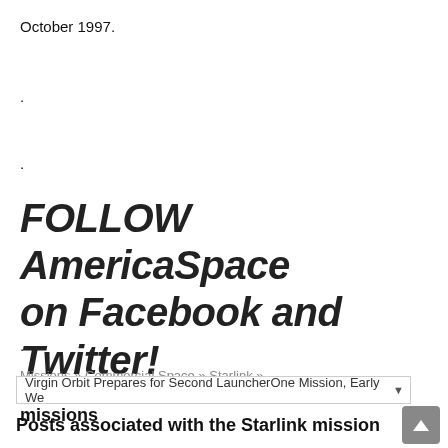October 1997.
.
.
FOLLOW AmericaSpace on Facebook and Twitter!
.
Missions » Commercial Space » Starlink »
Posts associated with the Commercial Space missions
Virgin Orbit Prepares for Second LauncherOne Mission, Early We
Posts associated with the Starlink mission